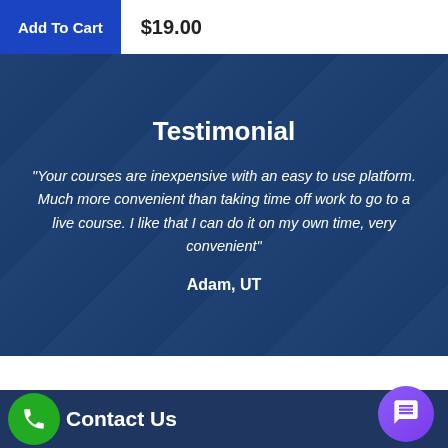Add To Cart   $19.00
Testimonial
“Your courses are inexpensive with an easy to use platform. Much more convenient than taking time off work to go to a live course. I like that I can do it on my own time, very convenient”
Adam, UT
Contact Us